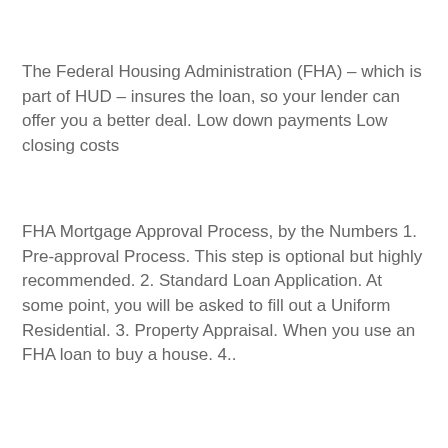The Federal Housing Administration (FHA) – which is part of HUD – insures the loan, so your lender can offer you a better deal. Low down payments Low closing costs
FHA Mortgage Approval Process, by the Numbers 1. Pre-approval Process. This step is optional but highly recommended. 2. Standard Loan Application. At some point, you will be asked to fill out a Uniform Residential. 3. Property Appraisal. When you use an FHA loan to buy a house. 4..
[Figure (photo): Broken image placeholder with alt text: How the Closing Process Works When Buying a House!]
FHA and VA loans. The app also provides estimates on deadlines for closing documents, so homebuyers know not just what to expect, but when to expect it. While